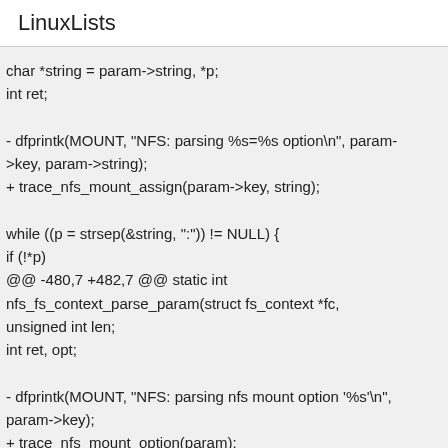LinuxLists
char *string = param->string, *p;
int ret;

- dfprintk(MOUNT, "NFS: parsing %s=%s option\n", param->key, param->string);
+ trace_nfs_mount_assign(param->key, string);

while ((p = strsep(&string, ":")) != NULL {
if (!*p)
@@ -480,7 +482,7 @@ static int
nfs_fs_context_parse_param(struct fs_context *fc,
unsigned int len;
int ret, opt;

- dfprintk(MOUNT, "NFS: parsing nfs mount option '%s'\n",
param->key);
+ trace_nfs_mount_option(param);